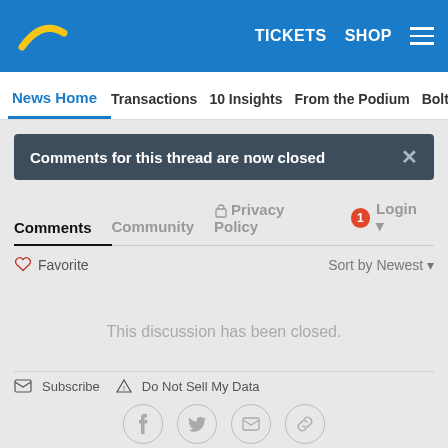Chargers — TICKETS  SHOP  [menu]
News Home  Transactions  10 Insights  From the Podium  Bolts
Comments for this thread are now closed
Comments  Community  Privacy Policy  1  Login
♡ Favorite  Sort by Newest
This discussion has been closed.
✉ Subscribe  ▲ Do Not Sell My Data
[Facebook] [Twitter] [Email] [Link]